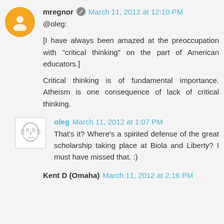mregnor · March 11, 2012 at 12:10 PM
@oleg:
[I have always been amazed at the preoccupation with "critical thinking" on the part of American educators.]
Critical thinking is of fundamental importance. Atheism is one consequence of lack of critical thinking.
oleg March 11, 2012 at 1:07 PM
That's it? Where's a spirited defense of the great scholarship taking place at Biola and Liberty? I must have missed that. :)
Kent D (Omaha) March 11, 2012 at 2:16 PM